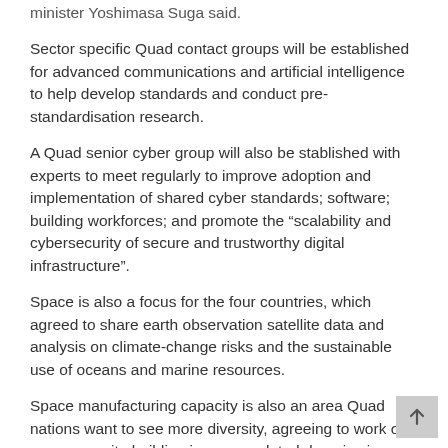minister Yoshimasa Suga said.
Sector specific Quad contact groups will be established for advanced communications and artificial intelligence to help develop standards and conduct pre-standardisation research.
A Quad senior cyber group will also be stablished with experts to meet regularly to improve adoption and implementation of shared cyber standards; software; building workforces; and promote the “scalability and cybersecurity of secure and trustworthy digital infrastructure”.
Space is also a focus for the four countries, which agreed to share earth observation satellite data and analysis on climate-change risks and the sustainable use of oceans and marine resources.
Space manufacturing capacity is also an area Quad nations want to see more diversity, agreeing to work on more capacity-building in space-related domains in other Indo-Pacific countries.
The Quad group also agreed to consult each other on norms, guidelines, principles, and rules for the outer space environment.